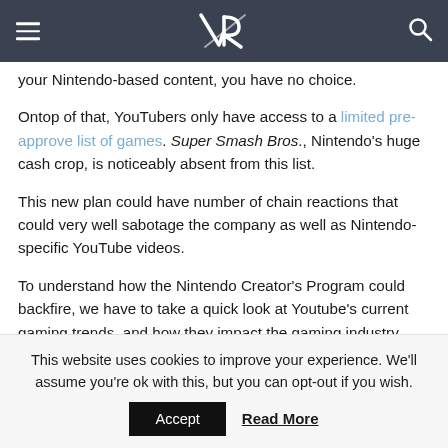VR [logo] navigation bar with hamburger menu and search icon
your Nintendo-based content, you have no choice.
Ontop of that, YouTubers only have access to a limited pre-approve list of games. Super Smash Bros., Nintendo's huge cash crop, is noticeably absent from this list.
This new plan could have number of chain reactions that could very well sabotage the company as well as Nintendo-specific YouTube videos.
To understand how the Nintendo Creator's Program could backfire, we have to take a quick look at Youtube's current gaming trends, and how they impact the gaming industry.
This website uses cookies to improve your experience. We'll assume you're ok with this, but you can opt-out if you wish.
Accept   Read More